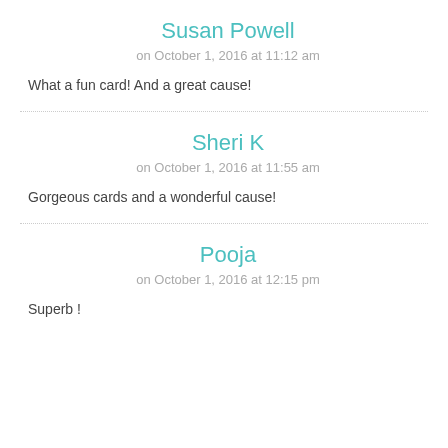Susan Powell
on October 1, 2016 at 11:12 am
What a fun card! And a great cause!
Sheri K
on October 1, 2016 at 11:55 am
Gorgeous cards and a wonderful cause!
Pooja
on October 1, 2016 at 12:15 pm
Superb !